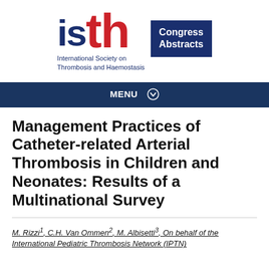[Figure (logo): ISTH (International Society on Thrombosis and Haemostasis) logo with 'isth' letters in blue and red, alongside a dark blue 'Congress Abstracts' box]
MENU ⌄
Management Practices of Catheter-related Arterial Thrombosis in Children and Neonates: Results of a Multinational Survey
M. Rizzi¹, C.H. Van Ommen², M. Albisetti³, On behalf of the International Pediatric Thrombosis Network (IPTN)